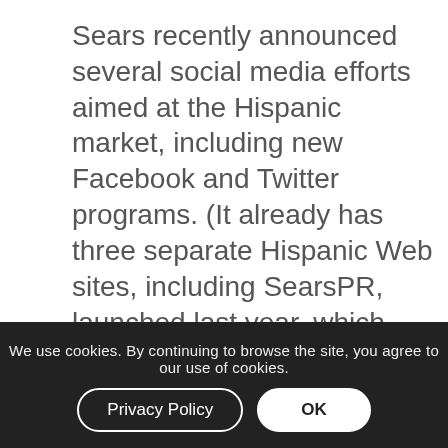Sears recently announced several social media efforts aimed at the Hispanic market, including new Facebook and Twitter programs. (It already has three separate Hispanic Web sites, including SearsPR, launched last year, which ships merchandise only to the island of Puerto Rico.)
[Figure (logo): Sears logo in cyan/turquoise color with stylized bold lettering, partially overlaid with cursive script text]
Marketing D y ca ug
We use cookies. By continuing to browse the site, you agree to our use of cookies.